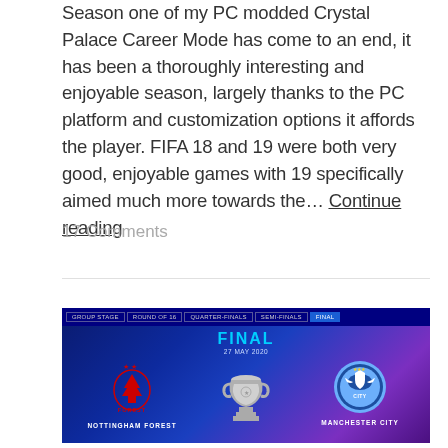Season one of my PC modded Crystal Palace Career Mode has come to an end, it has been a thoroughly interesting and enjoyable season, largely thanks to the PC platform and customization options it affords the player. FIFA 18 and 19 were both very good, enjoyable games with 19 specifically aimed much more towards the… Continue reading
17 Comments
[Figure (screenshot): UEFA Champions League Final match screen showing Nottingham Forest vs Manchester City in a FIFA video game, with navigation tabs: Group Stage, Round of 16, Quarter-Finals, Semi-Finals, Final (active). The central trophy is displayed with both team crests and names below.]